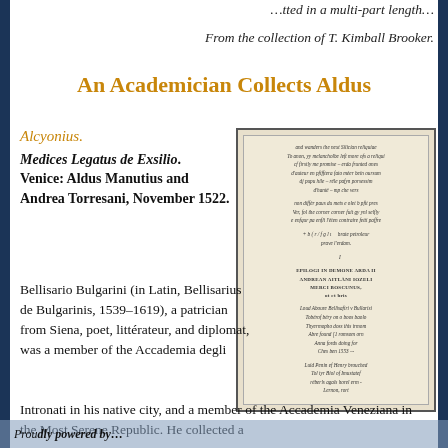…tted in a multi-part length…
From the collection of T. Kimball Brooker.
An Academician Collects Aldus
Alcyonius.
Medices Legatus de Exsilio. Venice: Aldus Manutius and Andrea Torresani, November 1522.
[Figure (photo): Photograph of a manuscript or early printed page with handwritten and printed text in Latin, showing several lines of italic script and bold centered headings.]
Bellisario Bulgarini (in Latin, Bellisarius de Bulgarinis, 1539–1619), a patrician from Siena, poet, littérateur, and diplomat, was a member of the Accademia degli Intronati in his native city, and a member of the Accademia Veneziana in the Most Serene Republic. He collected a
Proudly powered by…